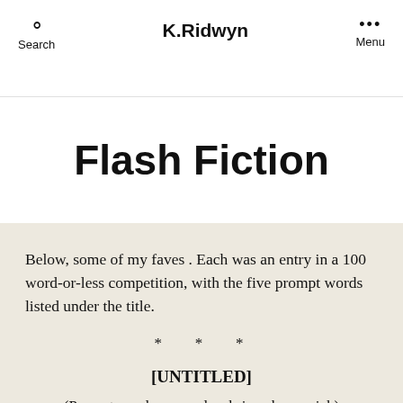K.Ridwyn
Flash Fiction
Below, some of my faves . Each was an entry in a 100 word-or-less competition, with the five prompt words listed under the title.
* * *
[UNTITLED]
(Prompt words: may, play, brie, whee, quick)